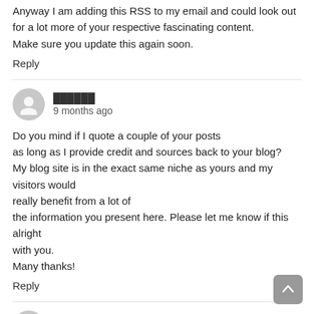Anyway I am adding this RSS to my email and could look out for a lot more of your respective fascinating content. Make sure you update this again soon.
Reply
██████ · 9 months ago
Do you mind if I quote a couple of your posts as long as I provide credit and sources back to your blog? My blog site is in the exact same niche as yours and my visitors would really benefit from a lot of the information you present here. Please let me know if this alright with you. Many thanks!
Reply
hZ3Q3tM4nTl · 9 months ago
I was recommended this blog by my cousin. I'm not